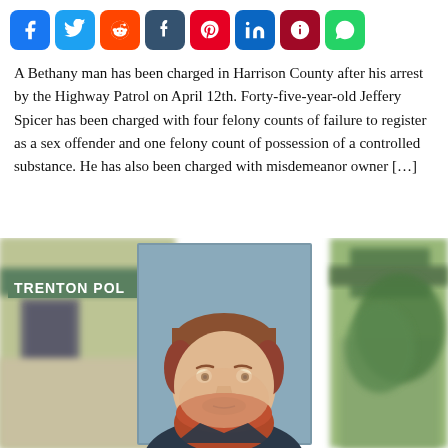[Figure (other): Social media share buttons: Facebook, Twitter, Reddit, Tumblr, Pinterest, LinkedIn, Parler, WhatsApp]
A Bethany man has been charged in Harrison County after his arrest by the Highway Patrol on April 12th. Forty-five-year-old Jeffery Spicer has been charged with four felony counts of failure to register as a sex offender and one felony count of possession of a controlled substance. He has also been charged with misdemeanor owner […]
[Figure (photo): Composite image showing a man's mugshot (red-bearded male with brown hair) overlaid on a blurred background showing the Trenton Police department building exterior and trees.]